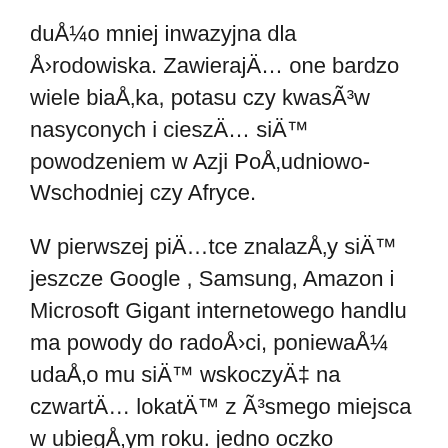duÅ¼o mniej inwazyjna dla Å›rodowiska. ZawierajÄ… one bardzo wiele biaÅ‚ka, potasu czy kwasÃ³w nasyconych i cieszÄ… siÄ™ powodzeniem w Azji PoÅ‚udniowo-Wschodniej czy Afryce.
W pierwszej piÄ…tce znalazÅ‚y siÄ™ jeszcze Google , Samsung, Amazon i Microsoft Gigant internetowego handlu ma powody do radoÅ›ci, poniewaÅ¼ udaÅ‚o mu siÄ™ wskoczyÄ‡ na czwartÄ… lokatÄ™ z Ã³smego miejsca w ubiegÅ‚ym roku. jedno oczko awansowaÅ‚o takÅ¼e Google. Spadki w dÃ³Å‚ zaliczyÅ‚y z kolei Samsung i Microsoft.